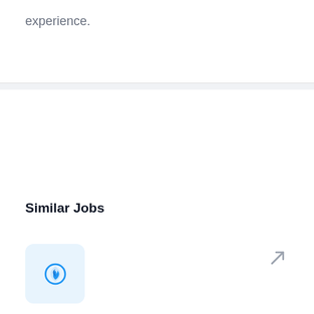experience.
Similar Jobs
[Figure (logo): Firefox-like circular blue flame logo icon on light blue rounded square background]
Lab Support Engineer 2 - Hopkinton, MA
Dell Technologies
Hopkinton, MA
Responsible for optimizing the configuration of the enterprise File storage infrastructure to maximize availability, performance, and capacity.